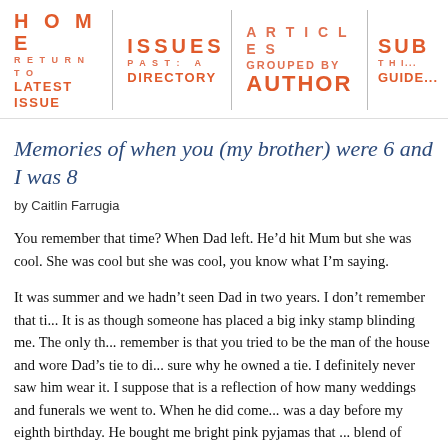HOME RETURN TO LATEST ISSUE | ISSUES PAST: A DIRECTORY | ARTICLES GROUPED BY AUTHOR | SUB... GUIDE...
Memories of when you (my brother) were 6 and I was 8
by Caitlin Farrugia
You remember that time? When Dad left. He'd hit Mum but she was cool. She was cool but she was cool, you know what I'm saying.
It was summer and we hadn't seen Dad in two years. I don't remember that ti... It is as though someone has placed a big inky stamp blinding me. The only th... remember is that you tried to be the man of the house and wore Dad's tie to di... sure why he owned a tie. I definitely never saw him wear it. I suppose that is a reflection of how many weddings and funerals we went to. When he did come... was a day before my eighth birthday. He bought me bright pink pyjamas that ... blend of nylon and silk. I hated the way that fabric felt on my skin especially ... sleep because I was prone to pretty bad night sweats. He didn't know that. I sa... you anyway. He'd pierced both ears and was wearing fisherman pants since th... time we saw him. I felt strange for Mum. We weren't allowed to watch Big B... probably because of the turkey slap incident but I haven't worked out what tu...